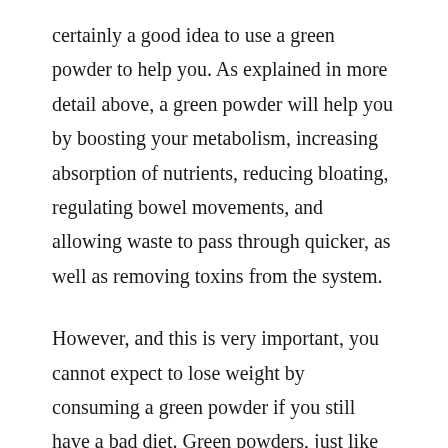certainly a good idea to use a green powder to help you. As explained in more detail above, a green powder will help you by boosting your metabolism, increasing absorption of nutrients, reducing bloating, regulating bowel movements, and allowing waste to pass through quicker, as well as removing toxins from the system.
However, and this is very important, you cannot expect to lose weight by consuming a green powder if you still have a bad diet. Green powders, just like every other weight loss or health and wellbeing product, are supplements.